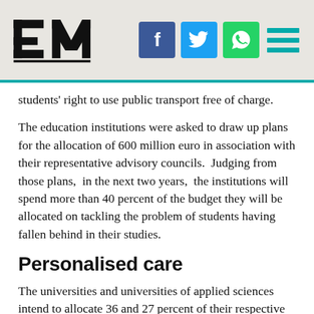EM | f | tw | wa | menu
students' right to use public transport free of charge.
The education institutions were asked to draw up plans for the allocation of 600 million euro in association with their representative advisory councils. Judging from those plans, in the next two years, the institutions will spend more than 40 percent of the budget they will be allocated on tackling the problem of students having fallen behind in their studies.
Personalised care
The universities and universities of applied sciences intend to allocate 36 and 27 percent of their respective budgets to improving student wellbeing. They will offer more personalised care to students who are experiencing